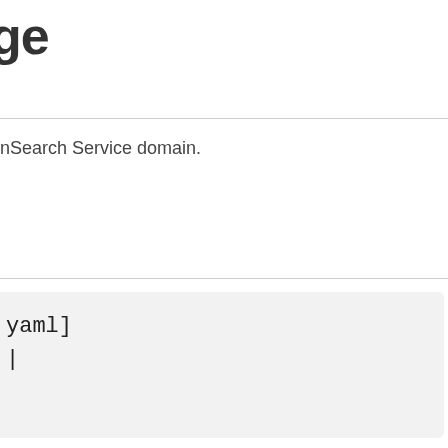ge
enSearch Service domain.
yaml]
|